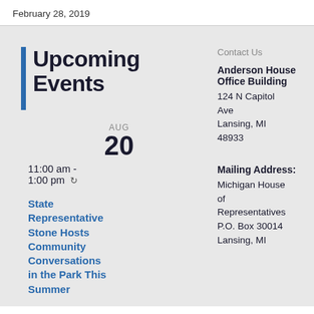February 28, 2019
Upcoming Events
Contact Us
AUG
20
11:00 am - 1:00 pm
State Representative Stone Hosts Community Conversations in the Park This Summer
Anderson House Office Building
124 N Capitol Ave
Lansing, MI 48933
Mailing Address:
Michigan House of Representatives
P.O. Box 30014
Lansing, MI